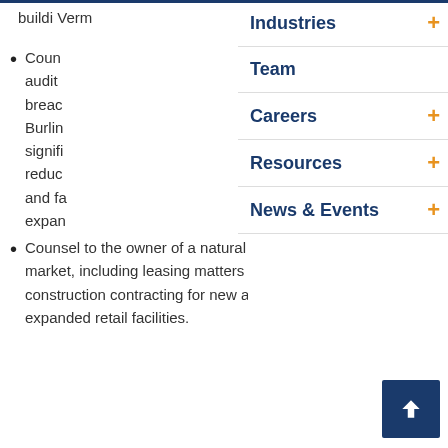buildi
Verm
Coun audit breac Burlin signifi reduc and fa expan
Counsel to the owner of a natural foods market, including leasing matters and construction contracting for new and expanded retail facilities.
Industries
Team
Careers
Resources
News & Events